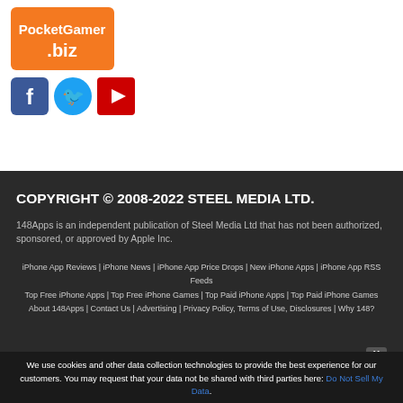[Figure (logo): PocketGamer.biz logo — orange background with white text]
[Figure (infographic): Social media icons: Facebook (blue square), Twitter (blue circle), YouTube (red rectangle)]
COPYRIGHT © 2008-2022 STEEL MEDIA LTD.
148Apps is an independent publication of Steel Media Ltd that has not been authorized, sponsored, or approved by Apple Inc.
iPhone App Reviews | iPhone News | iPhone App Price Drops | New iPhone Apps | iPhone App RSS Feeds
Top Free iPhone Apps | Top Free iPhone Games | Top Paid iPhone Apps | Top Paid iPhone Games
About 148Apps | Contact Us | Advertising | Privacy Policy, Terms of Use, Disclosures | Why 148?
We use cookies and other data collection technologies to provide the best experience for our customers. You may request that your data not be shared with third parties here: Do Not Sell My Data.